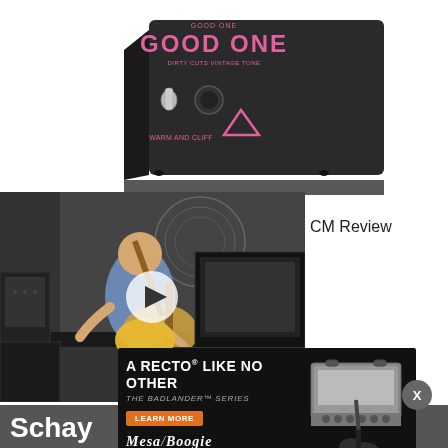[Figure (photo): Close-up photo of a black guitar effects pedal labeled 'Good One' with pink text, a toggle switch, and triangular graphics on a white background]
[Figure (screenshot): Video thumbnail showing a man playing an electric guitar (Stratocaster) in front of amplifiers, with a play button overlay]
CM Review
[Figure (infographic): Mesa/Boogie advertisement: 'A RECTO LIKE NO OTHER / THE BADLANDER SERIES' with Learn More button and image of Mesa/Boogie amplifier head with guitar]
Sch... ay
PG Gi... 8, 2022